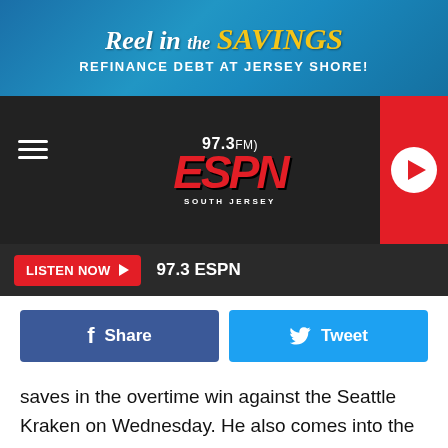[Figure (screenshot): Top advertisement banner: 'Reel in the SAVINGS - REFINANCE DEBT AT JERSEY SHORE!' on a blue ocean-themed background]
[Figure (logo): 97.3 FM ESPN South Jersey radio station logo with navigation hamburger menu and red play button]
LISTEN NOW ▶  97.3 ESPN
[Figure (screenshot): Social sharing buttons: blue Facebook Share button and light blue Twitter Tweet button]
saves in the overtime win against the Seattle Kraken on Wednesday. He also comes into the game with 19 career wins over the Kings in 28 games played, posting a 2.24 GAA.
ADVERTISEMENT
[Figure (screenshot): Bottom advertisement banner: 'Reel in the SAVINGS - REFINANCE DEBT AT JERSEY SHORE!' on a blue ocean-themed background]